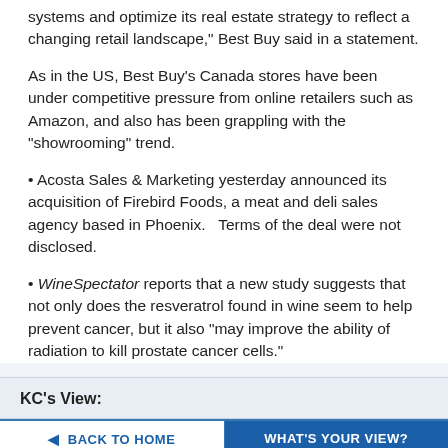systems and optimize its real estate strategy to reflect a changing retail landscape," Best Buy said in a statement.
As in the US, Best Buy's Canada stores have been under competitive pressure from online retailers such as Amazon, and also has been grappling with the "showrooming" trend.
• Acosta Sales & Marketing yesterday announced its acquisition of Firebird Foods, a meat and deli sales agency based in Phoenix.   Terms of the deal were not disclosed.
• WineSpectator reports that a new study suggests that not only does the resveratrol found in wine seem to help prevent cancer, but it also "may improve the ability of radiation to kill prostate cancer cells."
KC's View:
◀ BACK TO HOME
WHAT'S YOUR VIEW?